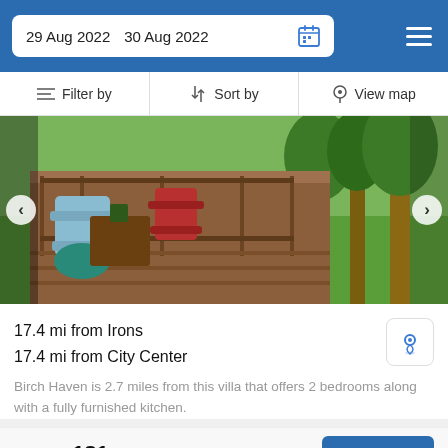29 Aug 2022  30 Aug 2022
Filter by  Sort by  View map
[Figure (photo): Outdoor porch/deck of a villa with Adirondack chairs and green lawn in background]
17.4 mi from Irons
17.4 mi from City Center
Birch Haven is 2.7 miles from this villa that offers 2 bedrooms along with a fully furnished kitchen.
from us$ 181/night
SELECT
Booked.net uses cookies that are strictly necessary for its functioning. We do not collect analytical and marketing cookies.